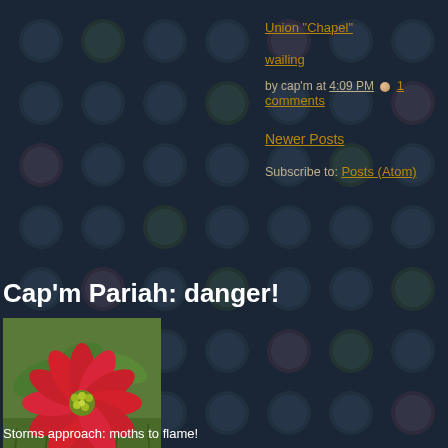Union "Chapel"
wailing
by cap'm at 4:09 PM · 1 comments
Newer Posts
Subscribe to: Posts (Atom)
Cap'm Pariah: danger!
[Figure (photo): A red poinsettia flower with green leaves on grass]
Storms approach: moths to flame!